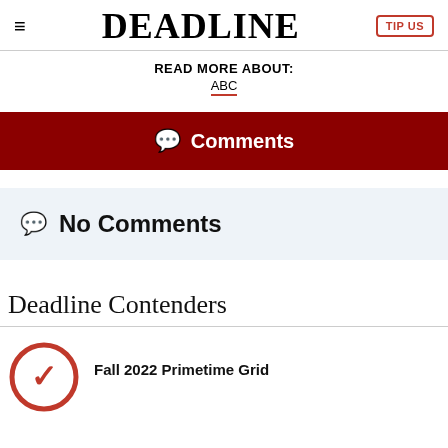DEADLINE
READ MORE ABOUT:
ABC
Comments
No Comments
Deadline Contenders
Fall 2022 Primetime Grid